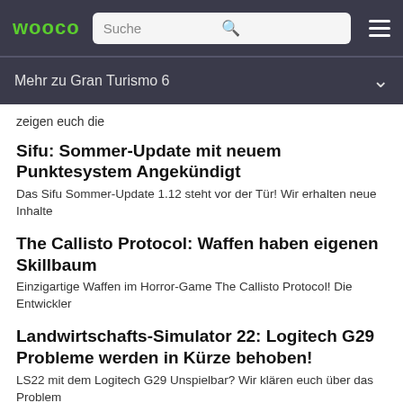WOOCO | Suche
Mehr zu Gran Turismo 6
zeigen euch die
Sifu: Sommer-Update mit neuem Punktesystem Angekündigt
Das Sifu Sommer-Update 1.12 steht vor der Tür! Wir erhalten neue Inhalte
The Callisto Protocol: Waffen haben eigenen Skillbaum
Einzigartige Waffen im Horror-Game The Callisto Protocol! Die Entwickler
Landwirtschafts-Simulator 22: Logitech G29 Probleme werden in Kürze behoben!
LS22 mit dem Logitech G29 Unspielbar? Wir klären euch über das Problem